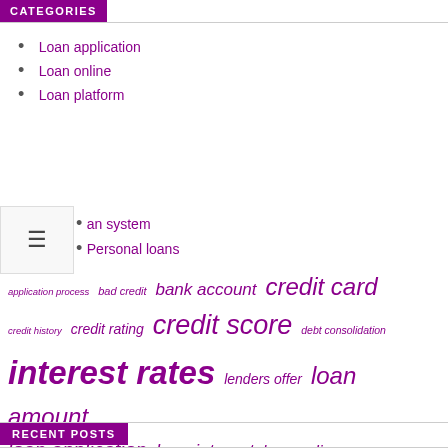CATEGORIES
Loan application
Loan online
Loan platform
Loan system
Personal loans
application process  bad credit  bank account  credit card  credit history  credit rating  credit score  debt consolidation  interest rates  lenders offer  loan amount  loan application  loan interest  loan online  loan system  payday loans  personal loans  repay loan  short term
RECENT POSTS